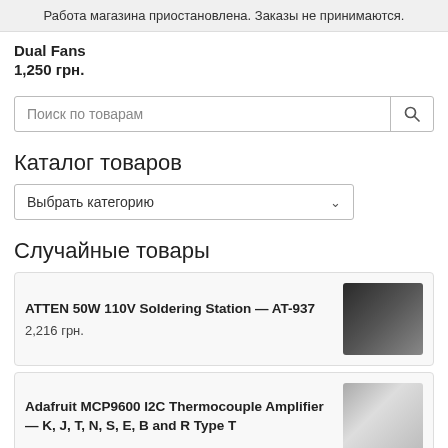Работа магазина приостановлена. Заказы не принимаются.
Dual Fans
1,250 грн.
Поиск по товарам
Каталог товаров
Выбрать категорию
Случайные товары
ATTEN 50W 110V Soldering Station — AT-937
2,216 грн.
Adafruit MCP9600 I2C Thermocouple Amplifier — K, J, T, N, S, E, B and R Type T